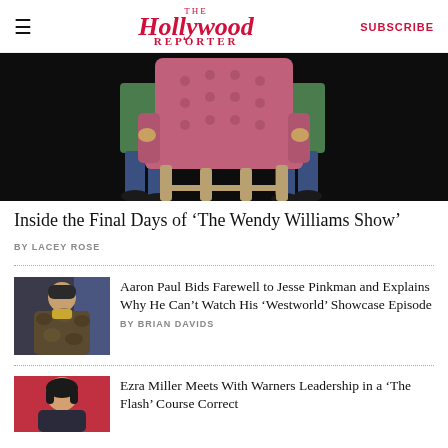THE Hollywood REPORTER | SUBSCRIBE
[Figure (photo): Two people in green shirts carrying a large pink tufted armchair against a black background]
Inside the Final Days of ‘The Wendy Williams Show’
BY LACEY ROSE
Aaron Paul Bids Farewell to Jesse Pinkman and Explains Why He Can’t Watch His ‘Westworld’ Showcase Episode
BY BRIAN DAVIDS
[Figure (photo): Aaron Paul wearing a beanie and fur coat]
Ezra Miller Meets With Warners Leadership in a ‘The Flash’ Course Correct
[Figure (photo): Person with dark hair against red background]